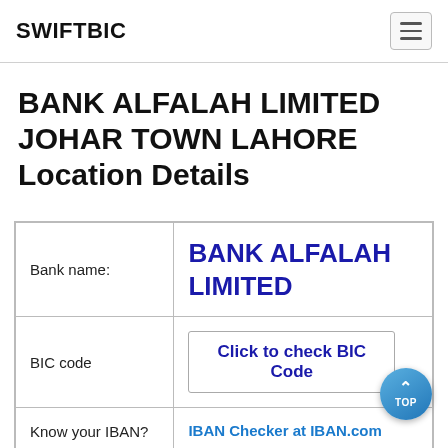SWIFTBIC
BANK ALFALAH LIMITED JOHAR TOWN LAHORE Location Details
|  |  |
| --- | --- |
| Bank name: | BANK ALFALAH LIMITED |
| BIC code | Click to check BIC Code |
| Know your IBAN? | IBAN Checker at IBAN.com |